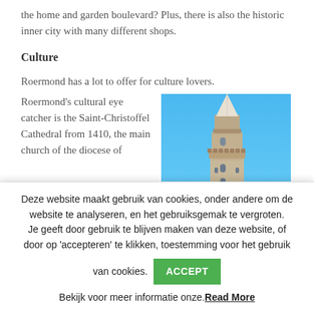the home and garden boulevard? Plus, there is also the historic inner city with many different shops.
Culture
Roermond has a lot to offer for culture lovers.
Roermond's cultural eye catcher is the Saint-Christoffel Cathedral from 1410, the main church of the diocese of
[Figure (photo): Photograph of the Saint-Christoffel Cathedral tower in Roermond against a blue sky]
Deze website maakt gebruik van cookies, onder andere om de website te analyseren, en het gebruiksgemak te vergroten. Je geeft door gebruik te blijven maken van deze website, of door op 'accepteren' te klikken, toestemming voor het gebruik van cookies. ACCEPT Bekijk voor meer informatie onze. Read More